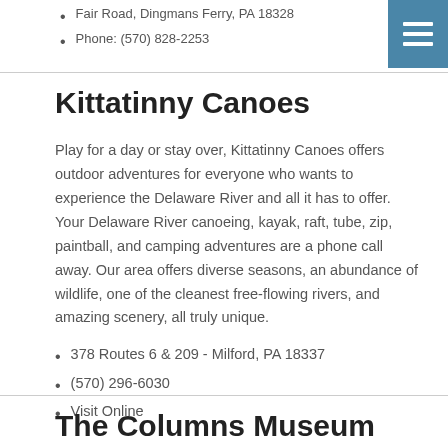Fair Road, Dingmans Ferry, PA 18328
Phone: (570) 828-2253
Kittatinny Canoes
Play for a day or stay over, Kittatinny Canoes offers outdoor adventures for everyone who wants to experience the Delaware River and all it has to offer. Your Delaware River canoeing, kayak, raft, tube, zip, paintball, and camping adventures are a phone call away. Our area offers diverse seasons, an abundance of wildlife, one of the cleanest free-flowing rivers, and amazing scenery, all truly unique.
378 Routes 6 & 209 - Milford, PA 18337
(570) 296-6030
Visit Online
The Columns Museum